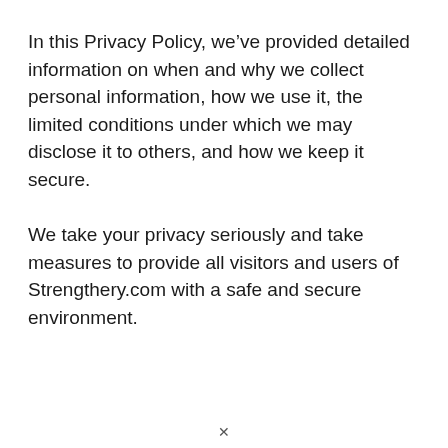In this Privacy Policy, we’ve provided detailed information on when and why we collect personal information, how we use it, the limited conditions under which we may disclose it to others, and how we keep it secure.
We take your privacy seriously and take measures to provide all visitors and users of Strengthery.com with a safe and secure environment.